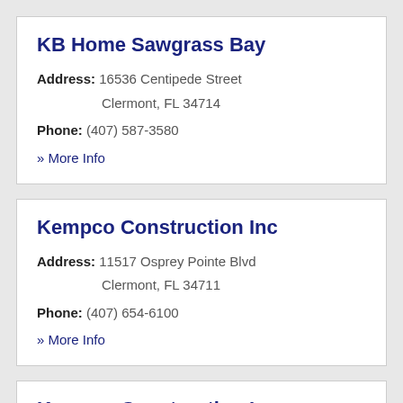KB Home Sawgrass Bay
Address: 16536 Centipede Street Clermont, FL 34714
Phone: (407) 587-3580
» More Info
Kempco Construction Inc
Address: 11517 Osprey Pointe Blvd Clermont, FL 34711
Phone: (407) 654-6100
» More Info
Kempco Construction Inc